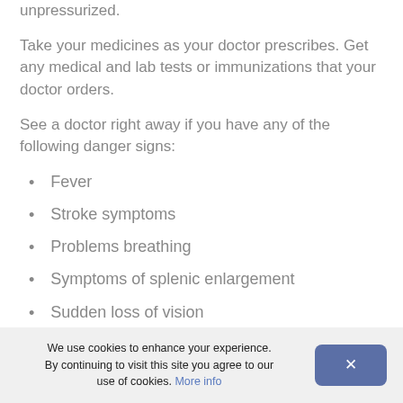unpressurized.
Take your medicines as your doctor prescribes. Get any medical and lab tests or immunizations that your doctor orders.
See a doctor right away if you have any of the following danger signs:
Fever
Stroke symptoms
Problems breathing
Symptoms of splenic enlargement
Sudden loss of vision
Symptoms of severe anemia
We use cookies to enhance your experience. By continuing to visit this site you agree to our use of cookies. More info